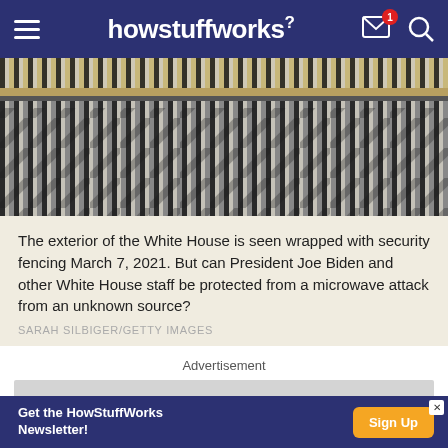howstuffworks
[Figure (photo): Exterior of the White House wrapped with security fencing, March 7, 2021. Metal vertical bars with diagonal shadows.]
The exterior of the White House is seen wrapped with security fencing March 7, 2021. But can President Joe Biden and other White House staff be protected from a microwave attack from an unknown source?
SARAH SILBIGER/GETTY IMAGES
Advertisement
[Figure (other): Advertisement placeholder (gray rectangle)]
Get the HowStuffWorks Newsletter! Sign Up